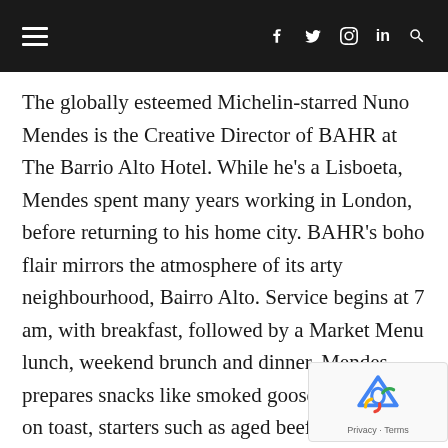≡  f  𝕏  ⊙  in  🔍
The globally esteemed Michelin-starred Nuno Mendes is the Creative Director of BAHR at The Barrio Alto Hotel. While he's a Lisboeta, Mendes spent many years working in London, before returning to his home city. BAHR's boho flair mirrors the atmosphere of its arty neighbourhood, Bairro Alto. Service begins at 7 am, with breakfast, followed by a Market Menu lunch, weekend brunch and dinner. Mendes prepares snacks like smoked goose barnacles on toast, starters such as aged beef tartare and mains including black pork Secretos with crayfish and Savoy cabbage. Dine indoors in the deeply fashionable restaurant, or on the terrace, with views of